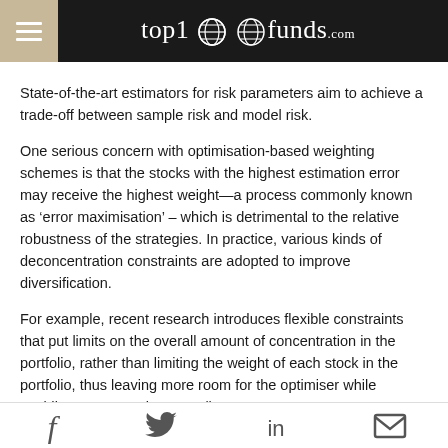top1000funds.com
State-of-the-art estimators for risk parameters aim to achieve a trade-off between sample risk and model risk.
One serious concern with optimisation-based weighting schemes is that the stocks with the highest estimation error may receive the highest weight—a process commonly known as ‘error maximisation’ – which is detrimental to the relative robustness of the strategies. In practice, various kinds of deconcentration constraints are adopted to improve diversification.
For example, recent research introduces flexible constraints that put limits on the overall amount of concentration in the portfolio, rather than limiting the weight of each stock in the portfolio, thus leaving more room for the optimiser while avoiding concentration overall.
f  in  ✉